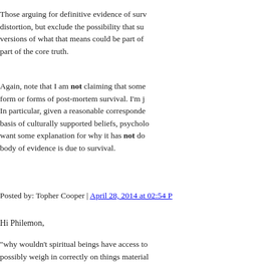Those arguing for definitive evidence of survival might accept distortion, but exclude the possibility that such-and-such versions of what that means could be part of the core truth. part of the core truth.
Again, note that I am not claiming that some form or forms of post-mortem survival. I'm j... In particular, given a reasonable correspondence basis of culturally supported beliefs, psycho... want some explanation for why it has not do... body of evidence is due to survival.
Posted by: Topher Cooper | April 28, 2014 at 02:54 P...
Hi Philemon,
"why wouldn't spiritual beings have access to... possibly weigh in correctly on things material... so to speak? You'd think they'd know that. W... that they're dunces in terms of how physicality... capable of coming to the awareness that they...
The whole matter of humans in the material... spirits (which I see as humans who have mo...